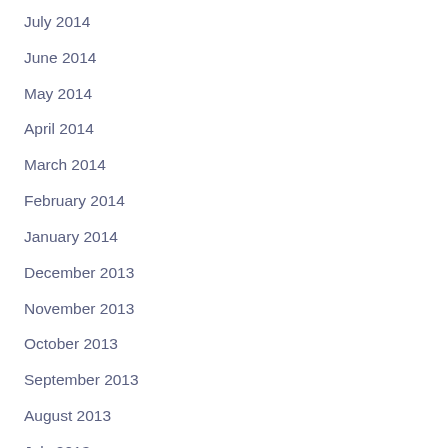July 2014
June 2014
May 2014
April 2014
March 2014
February 2014
January 2014
December 2013
November 2013
October 2013
September 2013
August 2013
July 2013
June 2013